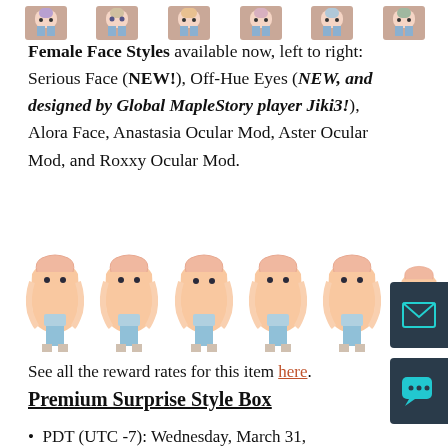[Figure (illustration): Row of 6 pixel-art female character sprites at the top of the page]
Female Face Styles available now, left to right: Serious Face (NEW!), Off-Hue Eyes (NEW, and designed by Global MapleStory player Jiki3!), Alora Face, Anastasia Ocular Mod, Aster Ocular Mod, and Roxxy Ocular Mod.
[Figure (illustration): Row of 6 pixel-art female character sprites with pink/blonde hair wearing blue outfits]
See all the reward rates for this item here.
Premium Surprise Style Box
PDT (UTC -7): Wednesday, March 31, 2021 1:00 AM - Wednesday, April 28, 2021